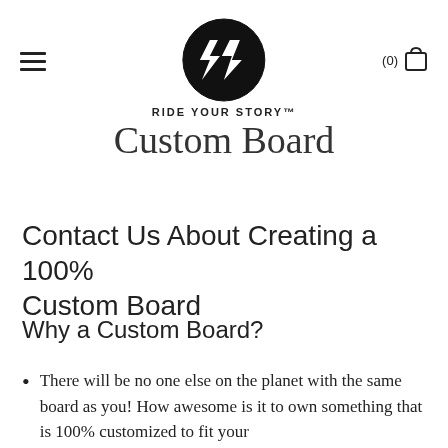RIDE YOUR STORY™
Custom Board
Contact Us About Creating a 100% Custom Board
Why a Custom Board?
There will be no one else on the planet with the same board as you! How awesome is it to own something that is 100% customized to fit your